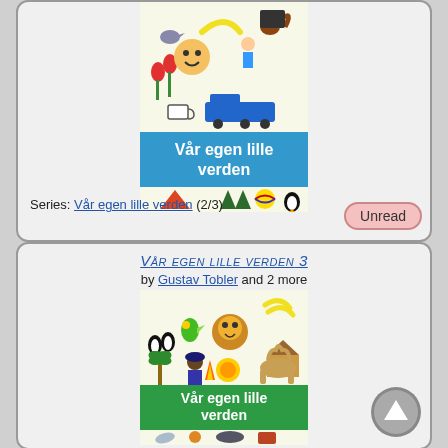[Figure (illustration): Book cover for 'Vår egen lille verden' showing colorful cartoon illustrations of various objects and animals, with a blue banner displaying the title]
Series: Vår egen lille verden (2/3)
Unread
Vår egen lille verden 3
by Gustav Tobler and 2 more
[Figure (illustration): Book cover for 'Vår egen lille verden 3' showing colorful cartoon illustrations of African/world animals and people, with a green banner displaying the title]
[Figure (illustration): Scroll-up navigation button (circular grey arrow)]